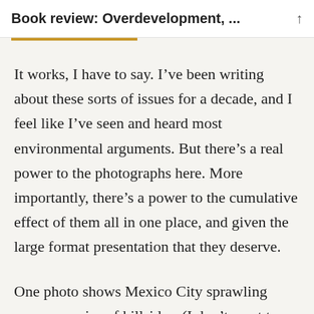Book review: Overdevelopment, ...
It works, I have to say. I’ve been writing about these sorts of issues for a decade, and I feel like I’ve seen and heard most environmental arguments. But there’s a real power to the photographs here. More importantly, there’s a power to the cumulative effect of them all in one place, and given the large format presentation that they deserve.
One photo shows Mexico City sprawling across a series of hillsides. (I don’t want to nick it, but go and look at it here and come back). From the height of the photo I found myself imagining the